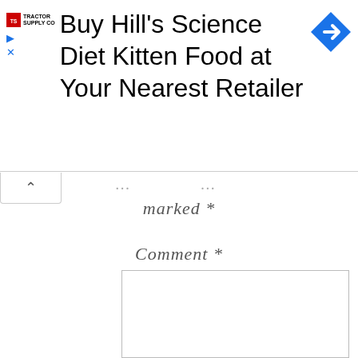[Figure (screenshot): Advertisement banner for Tractor Supply Co. promoting Hill's Science Diet Kitten Food with a navigation arrow icon]
marked *
Comment *